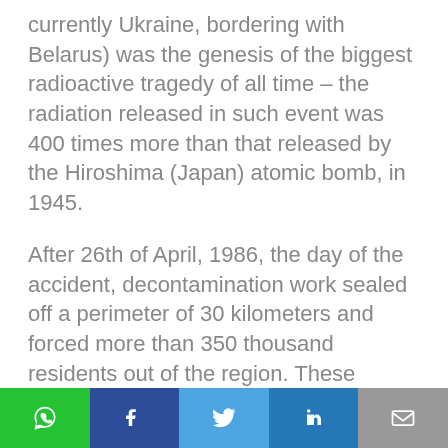currently Ukraine, bordering with Belarus) was the genesis of the biggest radioactive tragedy of all time – the radiation released in such event was 400 times more than that released by the Hiroshima (Japan) atomic bomb, in 1945.
After 26th of April, 1986, the day of the accident, decontamination work sealed off a perimeter of 30 kilometers and forced more than 350 thousand residents out of the region. These individuals never returned and, until today, the local is largely restricted to
[Figure (infographic): Social media sharing bar with icons for WhatsApp (green), Facebook (dark blue), Twitter (light blue), LinkedIn (blue), and Email (grey)]